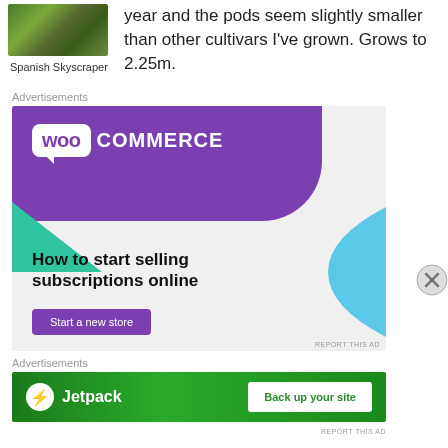[Figure (photo): Photo of a plant, likely showing leaves and foliage for Spanish Skyscraper cultivar]
Spanish Skyscraper
year and the pods seem slightly smaller than other cultivars I've grown. Grows to 2.25m.
Advertisements
[Figure (other): WooCommerce advertisement banner: 'How to start selling subscriptions online' with 'Start a new store' button]
Advertisements
[Figure (other): Jetpack advertisement banner: 'Back up your site' button on green background]